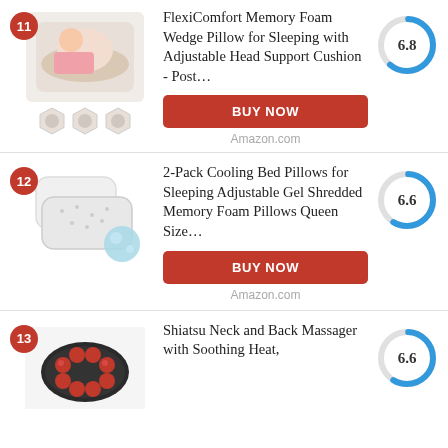11 - FlexiComfort Memory Foam Wedge Pillow for Sleeping with Adjustable Head Support Cushion - Post... Score: 6.8 BUY NOW Amazon.com
12 - 2-Pack Cooling Bed Pillows for Sleeping Adjustable Gel Shredded Memory Foam Pillows Queen Size... Score: 6.6 BUY NOW Amazon.com
13 - Shiatsu Neck and Back Massager with Soothing Heat, Score: 6.6